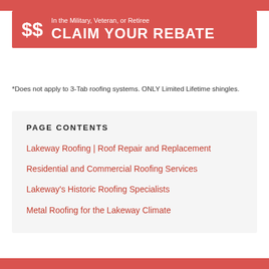[Figure (infographic): Red banner with dollar sign and text: In the Military, Veteran, or Retiree CLAIM YOUR REBATE]
*Does not apply to 3-Tab roofing systems. ONLY Limited Lifetime shingles.
PAGE CONTENTS
Lakeway Roofing | Roof Repair and Replacement
Residential and Commercial Roofing Services
Lakeway's Historic Roofing Specialists
Metal Roofing for the Lakeway Climate